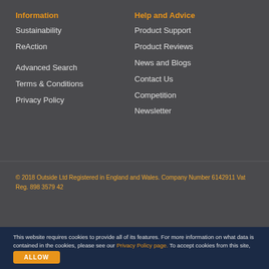Information
Sustainability
ReAction
Advanced Search
Terms & Conditions
Privacy Policy
Help and Advice
Product Support
Product Reviews
News and Blogs
Contact Us
Competition
Newsletter
© 2018 Outside Ltd Registered in England and Wales. Company Number 6142911 Vat Reg. 898 3579 42
This website requires cookies to provide all of its features. For more information on what data is contained in the cookies, please see our Privacy Policy page. To accept cookies from this site, please click the Allow button.
ALLOW